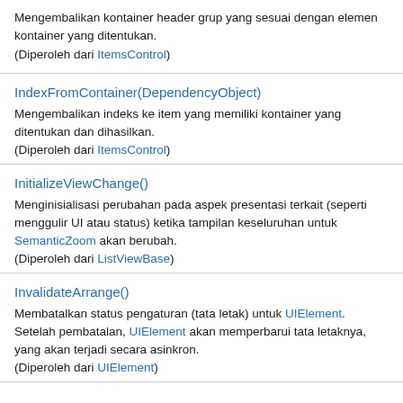Mengembalikan kontainer header grup yang sesuai dengan elemen kontainer yang ditentukan.
(Diperoleh dari ItemsControl)
IndexFromContainer(DependencyObject)
Mengembalikan indeks ke item yang memiliki kontainer yang ditentukan dan dihasilkan.
(Diperoleh dari ItemsControl)
InitializeViewChange()
Menginisialisasi perubahan pada aspek presentasi terkait (seperti menggulir UI atau status) ketika tampilan keseluruhan untuk SemanticZoom akan berubah.
(Diperoleh dari ListViewBase)
InvalidateArrange()
Membatalkan status pengaturan (tata letak) untuk UIElement. Setelah pembatalan, UIElement akan memperbarui tata letaknya, yang akan terjadi secara asinkron.
(Diperoleh dari UIElement)